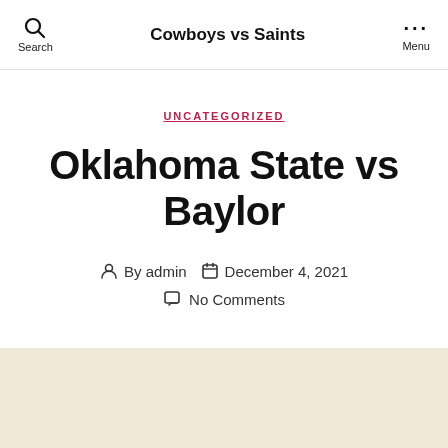Cowboys vs Saints
UNCATEGORIZED
Oklahoma State vs Baylor
By admin  December 4, 2021  No Comments